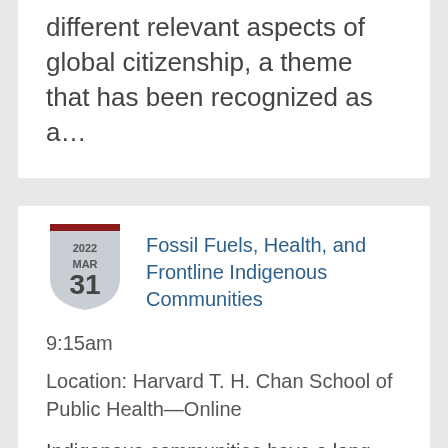different relevant aspects of global citizenship, a theme that has been recognized as a...
[Figure (other): Calendar badge showing 2022 MAR 31 in a shield shape with a dark red top bar]
Fossil Fuels, Health, and Frontline Indigenous Communities
9:15am
Location: Harvard T. H. Chan School of Public Health—Online
Indigenous communities have a long history of living with and learning from the environment, but the...